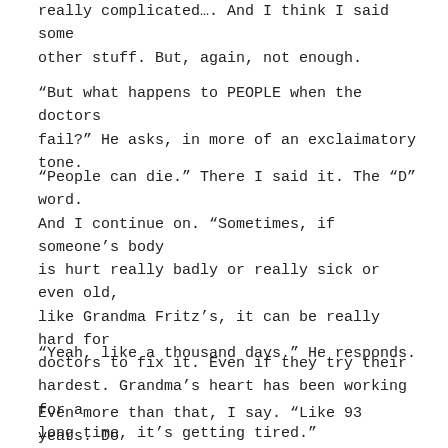really complicated…. And I think I said some other stuff. But, again, not enough.
“But what happens to PEOPLE when the doctors fail?” He asks, in more of an exclaimatory tone.
“People can die.” There I said it. The “D” word. And I continue on. “Sometimes, if someone’s body is hurt really badly or really sick or even old, like Grandma Fritz’s, it can be really hard for doctors to fix it. Even if they try their hardest. Grandma’s heart has been working for a long time, it’s getting tired.”
“Yeah, like a thousand days.” He responds.
Even more than that, I say. “Like 93 years. Do